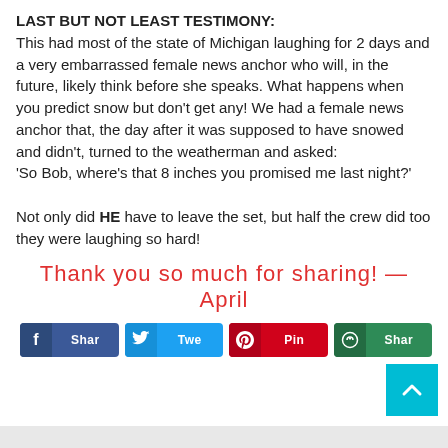LAST BUT NOT LEAST TESTIMONY:
This had most of the state of Michigan laughing for 2 days and a very embarrassed female news anchor who will, in the future, likely think before she speaks. What happens when you predict snow but don't get any! We had a female news anchor that, the day after it was supposed to have snowed and didn't, turned to the weatherman and asked:
'So Bob, where's that 8 inches you promised me last night?'

Not only did HE have to leave the set, but half the crew did too they were laughing so hard!
Thank you so much for sharing! —April